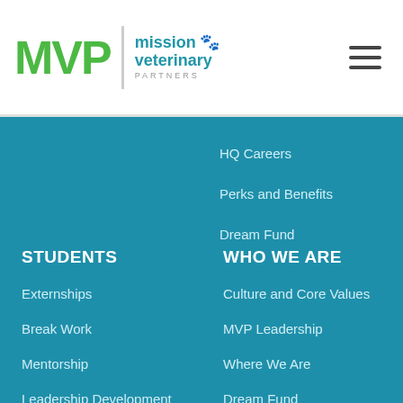MVP Mission Veterinary Partners
HQ Careers
Perks and Benefits
Dream Fund
STUDENTS
WHO WE ARE
Externships
Culture and Core Values
Break Work
MVP Leadership
Mentorship
Where We Are
Leadership Development
Dream Fund
Student Advocates